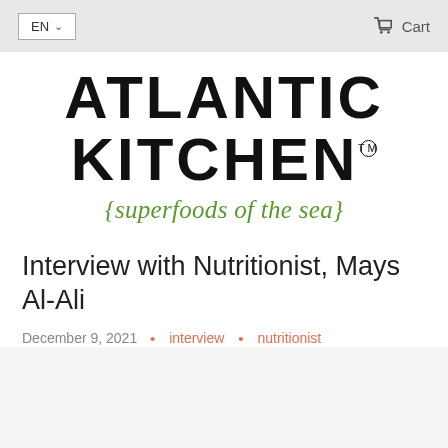EN  ∨   Cart
[Figure (logo): Atlantic Kitchen superfoods of the sea logo. Large bold black uppercase text 'ATLANTIC KITCHEN' with TM symbol, and italic green tagline '{superfoods of the sea}'.]
Interview with Nutritionist, Mays Al-Ali
December 9, 2021  •  interview  •  nutritionist